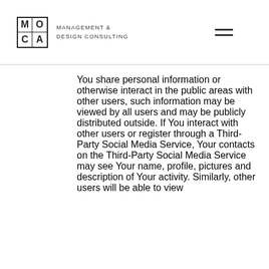MOCA MANAGEMENT & DESIGN CONSULTING
You share personal information or otherwise interact in the public areas with other users, such information may be viewed by all users and may be publicly distributed outside. If You interact with other users or register through a Third-Party Social Media Service, Your contacts on the Third-Party Social Media Service may see Your name, profile, pictures and description of Your activity. Similarly, other users will be able to view